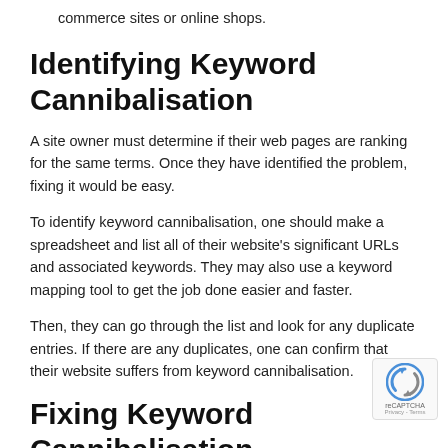commerce sites or online shops.
Identifying Keyword Cannibalisation
A site owner must determine if their web pages are ranking for the same terms. Once they have identified the problem, fixing it would be easy.
To identify keyword cannibalisation, one should make a spreadsheet and list all of their website's significant URLs and associated keywords. They may also use a keyword mapping tool to get the job done easier and faster.
Then, they can go through the list and look for any duplicate entries. If there are any duplicates, one can confirm that their website suffers from keyword cannibalisation.
Fixing Keyword Cannibalisation